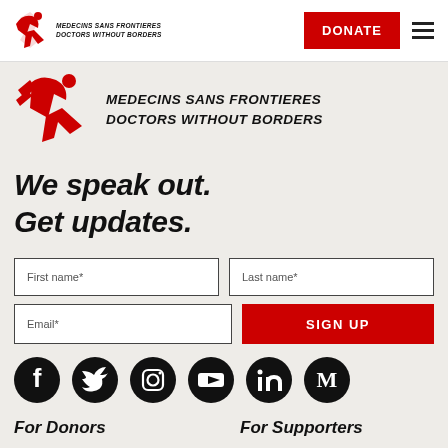MEDECINS SANS FRONTIERES DOCTORS WITHOUT BORDERS — nav with DONATE button
[Figure (logo): MSF Medecins Sans Frontieres / Doctors Without Borders logo — large version with red running figure and bold italic text]
We speak out.
Get updates.
First name* | Last name* | Email* | SIGN UP form fields
[Figure (infographic): Social media icons: Facebook, Twitter, Instagram, YouTube, LinkedIn, Medium — all black circles]
For Donors
For Supporters